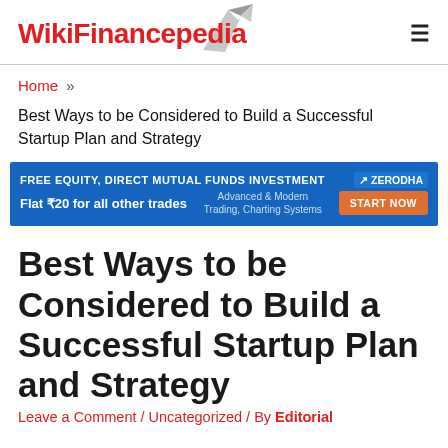WikiFinancepedia
Home »
Best Ways to be Considered to Build a Successful Startup Plan and Strategy
[Figure (infographic): Zerodha advertisement banner: FREE EQUITY, DIRECT MUTUAL FUNDS INVESTMENT | ZERODHA | Flat ₹20 for all other trades | Advanced & Modern Trading, Charting Systems | START NOW]
Best Ways to be Considered to Build a Successful Startup Plan and Strategy
Leave a Comment / Uncategorized / By Editorial